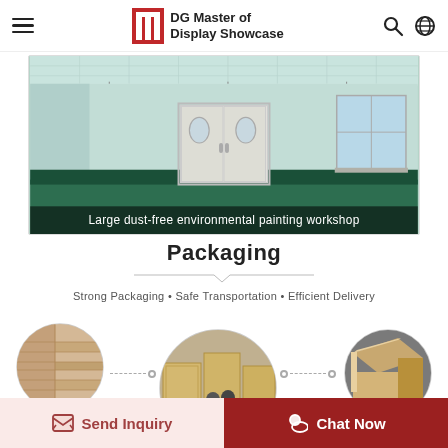DG Master of Display Showcase
[Figure (photo): Large dust-free environmental painting workshop — green epoxy floor, white walls, double swing doors with porthole windows, industrial ceiling lighting]
Large dust-free environmental painting workshop
Packaging
Strong Packaging • Safe Transportation • Efficient Delivery
[Figure (photo): Three circular photos showing packaging materials: left circle shows corner of strong fumigation-free multilayer plywood, center circle shows workers loading large wooden crates in warehouse, right circle shows cardboard corner protector on box. Dotted lines connect the circles with small circle markers. Labels below read: Strong fumigation-free multilayer plywood (left) and High strength corner protection (right).]
Send Inquiry   Chat Now